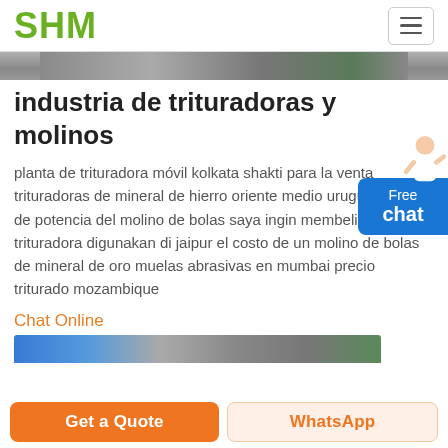SHM
[Figure (photo): Partial view of industrial machinery/crusher equipment — image strip at top of content area]
industria de trituradoras y molinos
planta de trituradora móvil kolkata shakti para la venta trituradoras de mineral de hierro oriente medio uruguay cálculo de potencia del molino de bolas saya ingin membeli tanaman trituradora digunakan di jaipur el costo de un molino de bolas de mineral de oro muelas abrasivas en mumbai precio triturado mozambique
Chat Online
[Figure (photo): Industrial machinery/equipment — partial image strip near bottom of page]
Get a Quote | WhatsApp